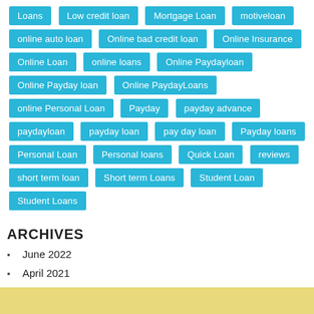Loans
Low credit loan
Mortgage Loan
motiveloan
online auto loan
Online bad credit loan
Online Insurance
Online Loan
online loans
Online Paydayloan
Online Payday loan
Online PaydayLoans
online Personal Loan
Payday
payday advance
paydayloan
payday loan
pay day loan
Payday loans
Personal Loan
Personal loans
Quick Loan
reviews
short term loan
Short term Loans
Student Loan
Student Loans
ARCHIVES
June 2022
April 2021
November 2020
January 2020
December 2019